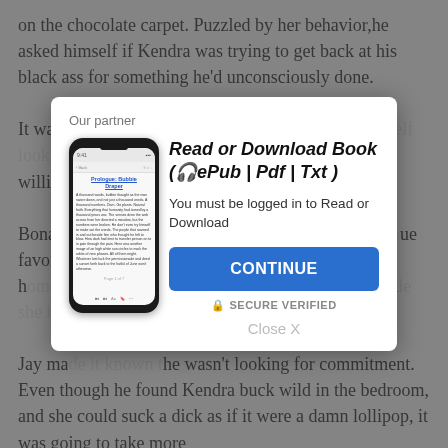on the chocolate carpet. Puzzled by her behavior, he asked himself if Kendra was trying to get back at his black ass for something he'd unconsciously done.
It was T... ad found h... g holiday... entist willing t... ll the trimmin...
Bonaparte... lling upon he... ue favor, a... she alleviate... d him to her h... sert. Jay fou... eauty, and whi... into a sexual m...
Jay ma... he wasn't looking for commitment. Even though he found Kendra buck wild in the bedroom, and she could suck a dick as if it were a damn lollipop, it was going to take more
[Figure (screenshot): Modal dialog popup with 'Our partner' label, phone image showing an ebook app, bold italic title 'Read or Download Book (🎧ePub | Pdf | Txt)', login message 'You must be logged in to Read or Download', blue CONTINUE button, SECURE VERIFIED text, and Close X link]